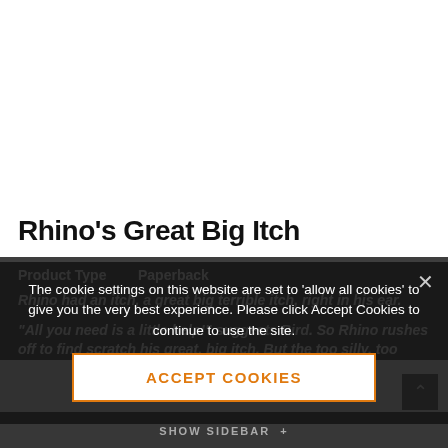Rhino's Great Big Itch
| Product Type | Paperback |
| --- | --- |
Rhino had an itch, a great big terrible itch, right in his ear.
"All you need is a little help!" suggests Bird. So Rhino rushes off to find someone to scratch his great, big itch. But the too silly, too...
The cookie settings on this website are set to 'allow all cookies' to give you the very best experience. Please click Accept Cookies to continue to use the site.
ACCEPT COOKIES
SHOW SIDEBAR +